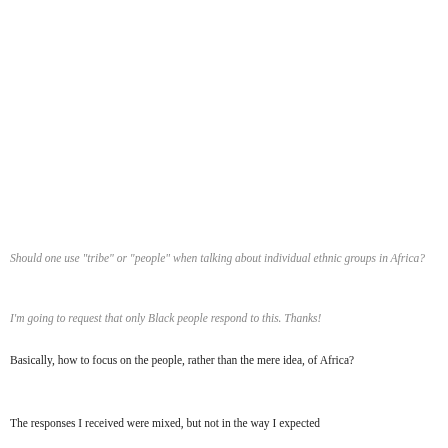Should one use "tribe" or "people" when talking about individual ethnic groups in Africa?
I'm going to request that only Black people respond to this. Thanks!
Basically, how to focus on the people, rather than the mere idea, of Africa?
The responses I received were mixed, but not in the way I expected...